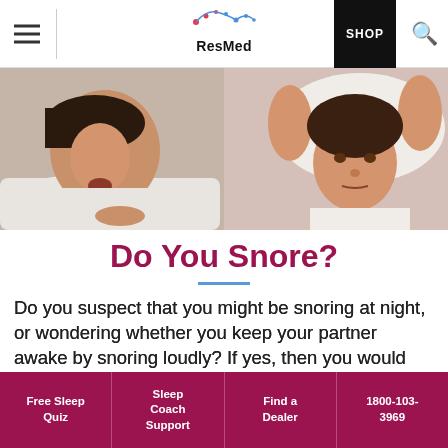ResMed navigation bar with hamburger menu, ResMed logo, SHOP button, search icon
[Figure (photo): A man snoring in bed on the left, a woman covering her ears with a pillow on the right, both lying in bed]
Do You Snore?
Do you suspect that you might be snoring at night, or wondering whether you keep your partner awake by snoring loudly? If yes, then you would want to put an end to this mystery and also learn w ways to
Free Sleep Quiz | Sleep Coach Support | Find a Dealer | 1800-103-3969